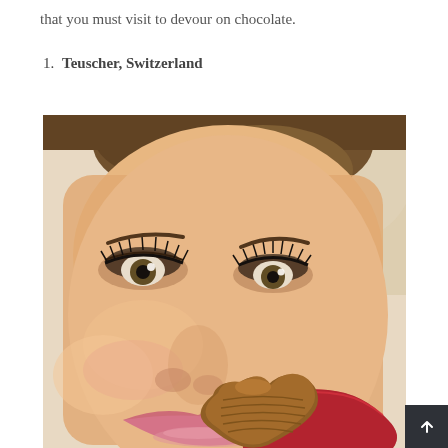that you must visit to devour on chocolate.
1. Teuscher, Switzerland
[Figure (photo): Close-up photo of a young woman with brown eyes, heavy eye makeup, and pink lips, biting into a heart-shaped chocolate wrapped in red foil, against a beige/cream background.]